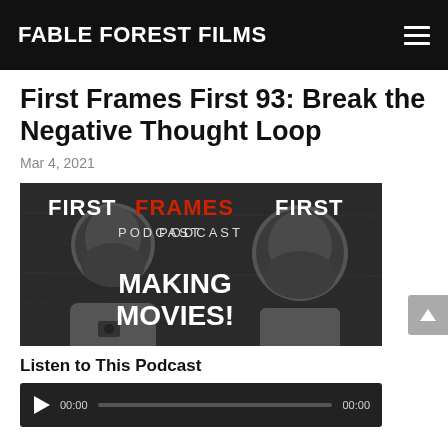FABLE FOREST FILMS
First Frames First 93: Break the Negative Thought Loop
Mar 4, 2021
[Figure (photo): First Frames First Podcast - Making Movies! banner image showing two men in black and white with podcast title text. 'FRAMES' in red.]
Listen to This Podcast
[Figure (screenshot): Audio player with play button, 00:00 timestamp, progress bar, and 00:00 end timestamp on dark background.]